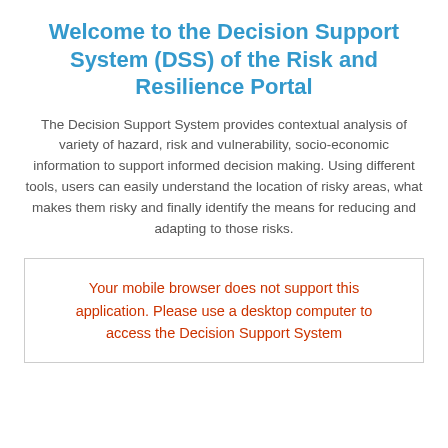Welcome to the Decision Support System (DSS) of the Risk and Resilience Portal
The Decision Support System provides contextual analysis of variety of hazard, risk and vulnerability, socio-economic information to support informed decision making. Using different tools, users can easily understand the location of risky areas, what makes them risky and finally identify the means for reducing and adapting to those risks.
Your mobile browser does not support this application. Please use a desktop computer to access the Decision Support System